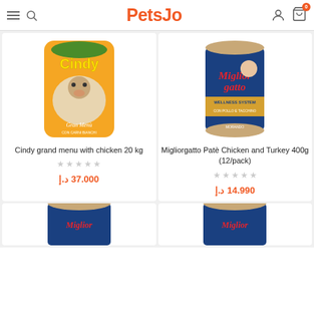PetsJo - navigation header with hamburger, search, logo, user and cart icons
[Figure (photo): Cindy grand menu dog food bag - orange bag with a dog image]
Cindy grand menu with chicken 20 kg
★★★★★ (empty stars)
37.000 د.إ
[Figure (photo): Migliorgatto Patè Chicken and Turkey 400g can - blue can with cat image]
Migliorgatto Patè Chicken and Turkey 400g (12/pack)
★★★★★ (empty stars)
14.990 د.إ
[Figure (photo): Partial product image at bottom left - can]
[Figure (photo): Partial product image at bottom right - can]